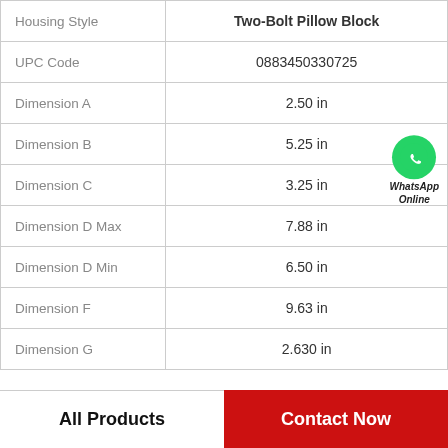|  |  |
| --- | --- |
| Housing Style | Two-Bolt Pillow Block |
| UPC Code | 0883450330725 |
| Dimension A | 2.50 in |
| Dimension B | 5.25 in |
| Dimension C | 3.25 in |
| Dimension D Max | 7.88 in |
| Dimension D Min | 6.50 in |
| Dimension F | 9.63 in |
| Dimension G | 2.630 in |
All Products
Contact Now